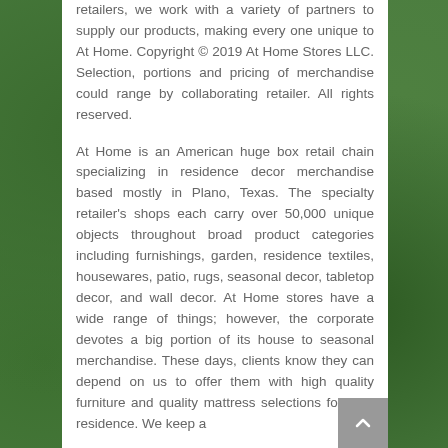retailers, we work with a variety of partners to supply our products, making every one unique to At Home. Copyright © 2019 At Home Stores LLC. Selection, portions and pricing of merchandise could range by collaborating retailer. All rights reserved.
At Home is an American huge box retail chain specializing in residence decor merchandise based mostly in Plano, Texas. The specialty retailer's shops each carry over 50,000 unique objects throughout broad product categories including furnishings, garden, residence textiles, housewares, patio, rugs, seasonal decor, tabletop decor, and wall decor. At Home stores have a wide range of things; however, the corporate devotes a big portion of its house to seasonal merchandise. These days, clients know they can depend on us to offer them with high quality furniture and quality mattress selections for their residence. We keep a